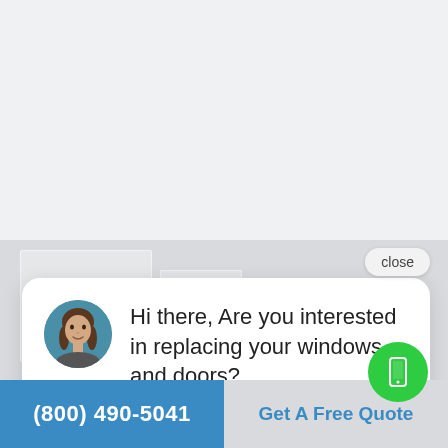[Figure (screenshot): Website screenshot showing a chat popup with a woman's avatar. The popup asks 'Hi there, Are you interested in replacing your windows and doors?' with a close button. Bottom bar shows phone number and CTA button.]
close
Hi there, Are you interested in replacing your windows and doors?
(800) 490-5041
Get A Free Quote